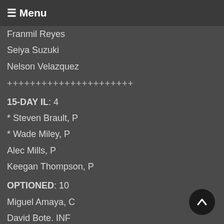☰ Menu
Franmil Reyes
Seiya Suzuki
Nelson Velazquez
++++++++++++++++++++++
15-DAY IL: 4
* Steven Brault, P
* Wade Miley, P
Alec Mills, P
Keegan Thompson, P
OPTIONED: 10
Miguel Amaya, C
David Bote. INF
Alexander Canario, OF
Narciso Crook, OF
Anderson ESpinoza, P
Caleb Kilian, P